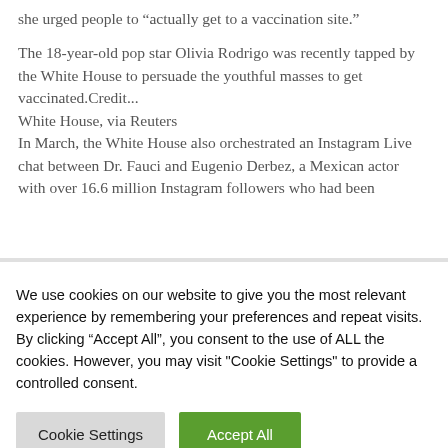she urged people to “actually get to a vaccination site.”
The 18-year-old pop star Olivia Rodrigo was recently tapped by the White House to persuade the youthful masses to get vaccinated.Credit... White House, via Reuters
In March, the White House also orchestrated an Instagram Live chat between Dr. Fauci and Eugenio Derbez, a Mexican actor with over 16.6 million Instagram followers who had been
We use cookies on our website to give you the most relevant experience by remembering your preferences and repeat visits. By clicking “Accept All”, you consent to the use of ALL the cookies. However, you may visit "Cookie Settings" to provide a controlled consent.